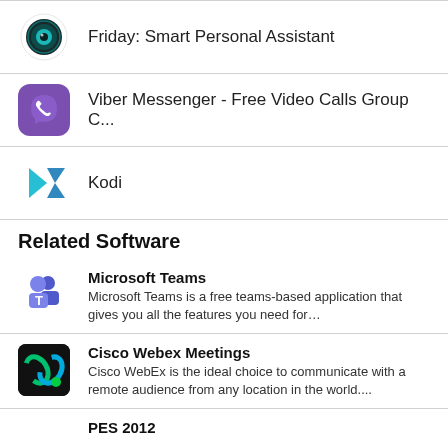Friday: Smart Personal Assistant
Viber Messenger - Free Video Calls Group C...
Kodi
Related Software
Microsoft Teams
Microsoft Teams is a free teams-based application that gives you all the features you need for…
Cisco Webex Meetings
Cisco WebEx is the ideal choice to communicate with a remote audience from any location in the world....
PES 2012